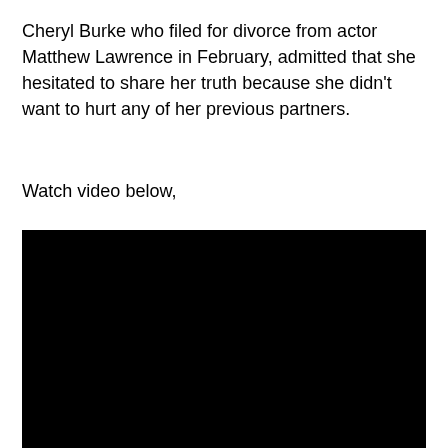Cheryl Burke who filed for divorce from actor Matthew Lawrence in February, admitted that she hesitated to share her truth because she didn't want to hurt any of her previous partners.
Watch video below,
[Figure (other): Black video player rectangle embedded in article]